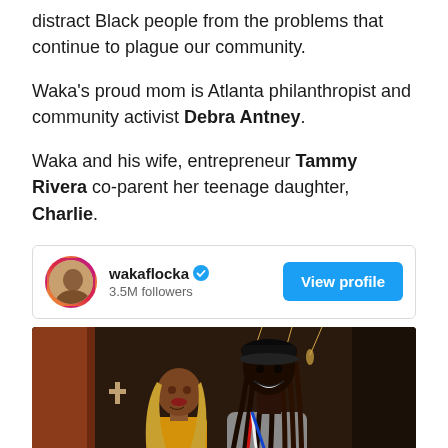distract Black people from the problems that continue to plague our community.
Waka's proud mom is Atlanta philanthropist and community activist Debra Antney.
Waka and his wife, entrepreneur Tammy Rivera co-parent her teenage daughter, Charlie.
[Figure (screenshot): Instagram profile card for wakaflocka with 3.5M followers and a View profile button]
[Figure (photo): Photo of two people posing together indoors — a woman with long blonde hair wearing yellow and a tall man with dreadlocks wearing a gray hoodie and a red-white-blue medal/lanyard and a black cap]